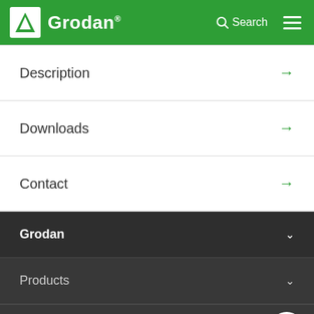Grodan
Description →
Downloads →
Contact →
Grodan ∨
Products ∨
Growing Solutions ∨